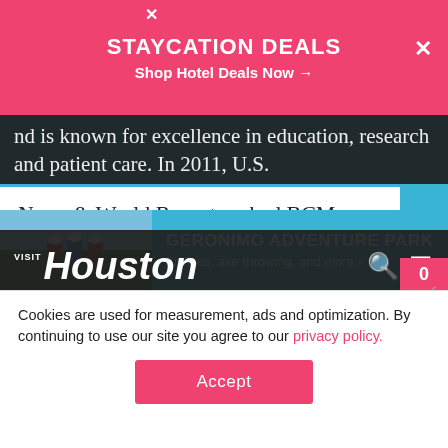[Figure (screenshot): Pink promotional banner: STAYCATION DEALS / Shop Hotel Deals Now →, with X close button]
[Figure (screenshot): Visit Houston website navigation bar with logo and search/menu icons, overlaying text about excellence in education, research and patient care. In 2011, U.S.]
News & World Report ranked BCM as one of the top 25 medical schools for research. Currently, BCM trains more than 3,000 medical, graduate, nurse anesthesia, and physician assistant st[udents]
[Figure (photo): Geronimo Adventure Park ad with photo of people ziplining, text: GERONIMO ADVENTURE PARK / Ziplines, axe throwing, and more >]
Cookies are used for measurement, ads and optimization. By continuing to use our site you agree to our privacy policy.
[Figure (screenshot): Accept button for cookie consent]